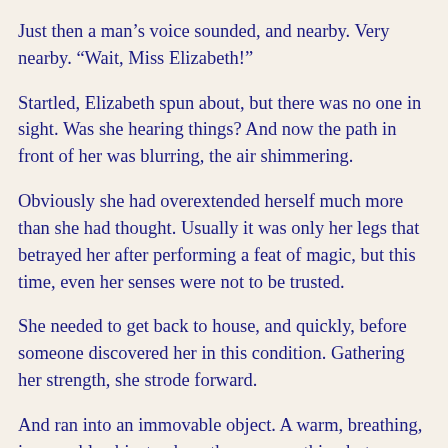Just then a man’s voice sounded, and nearby. Very nearby. “Wait, Miss Elizabeth!”
Startled, Elizabeth spun about, but there was no one in sight. Was she hearing things? And now the path in front of her was blurring, the air shimmering.
Obviously she had overextended herself much more than she had thought. Usually it was only her legs that betrayed her after performing a feat of magic, but this time, even her senses were not to be trusted.
She needed to get back to house, and quickly, before someone discovered her in this condition. Gathering her strength, she strode forward.
And ran into an immovable object. A warm, breathing, immovable object, where there was nothing but an